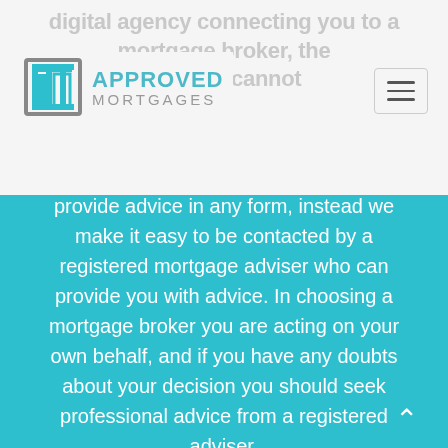[Figure (logo): Approved Mortgages logo with square bracket icon and navigation hamburger menu]
provide advice in any form, instead we make it easy to be contacted by a registered mortgage adviser who can provide you with advice. In choosing a mortgage broker you are acting on your own behalf, and if you have any doubts about your decision you should seek professional advice from a registered adviser.